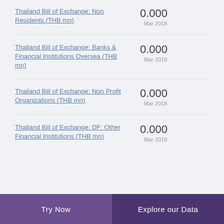Thailand Bill of Exchange: Non Residents (THB mn)
0.000
Mar 2018
Thailand Bill of Exchange: Banks & Financial Institutions Oversea (THB mn)
0.000
Mar 2018
Thailand Bill of Exchange: Non Profit Organizations (THB mn)
0.000
Mar 2018
Thailand Bill of Exchange: DF: Other Financial Institutions (THB mn)
0.000
Mar 2018
Try Now   Explore our Data